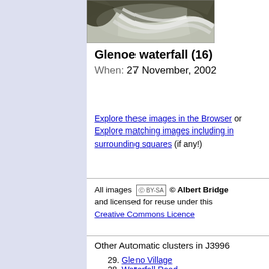[Figure (photo): Waterfall photo showing rushing white water over dark rocks - Glenoe waterfall]
Glenoe waterfall (16)
When: 27 November, 2002
Explore these images in the Browser or Explore matching images including in surrounding squares (if any!)
All images © Albert Bridge and licensed for reuse under this Creative Commons Licence
Other Automatic clusters in J3996
29. Gleno Village
28. Waterfall Road
19. Winter at Glenoe